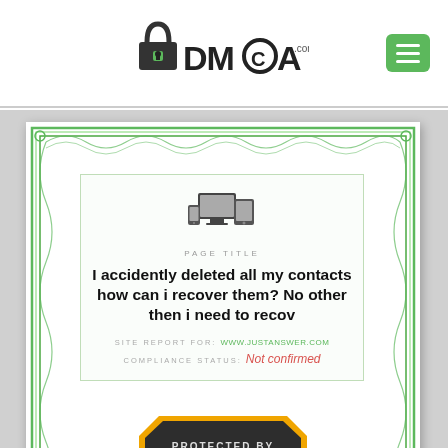[Figure (logo): DMCA.com logo with padlock icon and hamburger menu button]
[Figure (illustration): DMCA.com site report certificate with green guilloche border, device icons, page title, site URL, compliance status, and DMCA protected badge]
I accidently deleted all my contacts how can i recover them? No other then i need to recov
PAGE TITLE
SITE REPORT FOR: www.justanswer.com
COMPLIANCE STATUS: Not confirmed